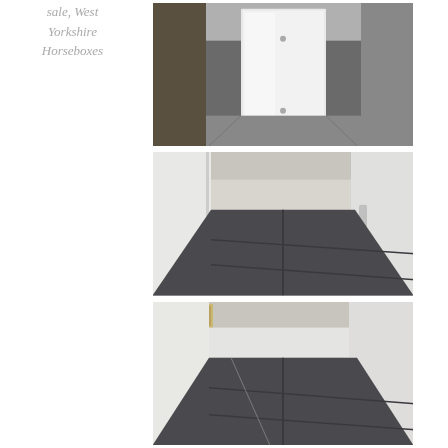sale, West Yorkshire Horseboxes
[Figure (photo): Interior of a horsebox showing a white partition panel in the horse stall area, viewed from inside]
[Figure (photo): Interior of a horsebox showing dark rubber matting on the floor and white walls, viewed from inside the stall]
[Figure (photo): Interior of a horsebox showing dark rubber matting on the floor, white walls and a small window, viewed from inside]